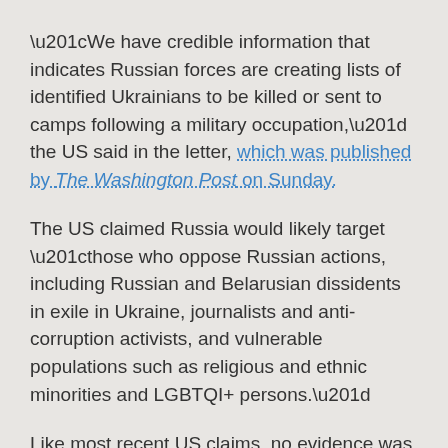“We have credible information that indicates Russian forces are creating lists of identified Ukrainians to be killed or sent to camps following a military occupation,” the US said in the letter, which was published by The Washington Post on Sunday.
The US claimed Russia would likely target “those who oppose Russian actions, including Russian and Belarusian dissidents in exile in Ukraine, journalists and anti-corruption activists, and vulnerable populations such as religious and ethnic minorities and LGBTQI+ persons.”
Like most recent US claims, no evidence was offered to back up the accusations made in the letter. National Security Advisor Jake Sullivan made a similar claim on Sunday, warning that Russia was preparing